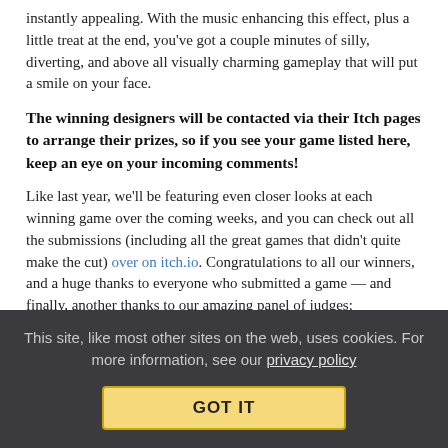instantly appealing. With the music enhancing this effect, plus a little treat at the end, you've got a couple minutes of silly, diverting, and above all visually charming gameplay that will put a smile on your face.
The winning designers will be contacted via their Itch pages to arrange their prizes, so if you see your game listed here, keep an eye on your incoming comments!
Like last year, we'll be featuring even closer looks at each winning game over the coming weeks, and you can check out all the submissions (including all the great games that didn't quite make the cut) over on itch.io. Congratulations to all our winners, and a huge thanks to everyone who submitted a game — and finally, another thanks to our amazing panel of judges:
Sharang Biswas
This site, like most other sites on the web, uses cookies. For more information, see our privacy policy
GOT IT